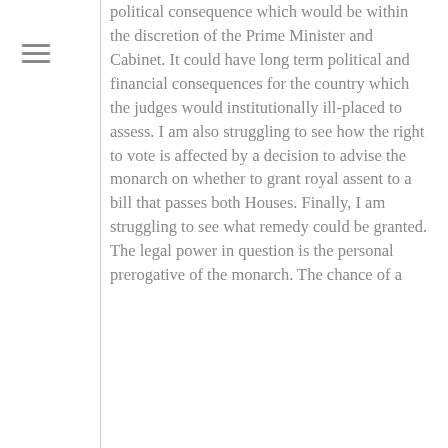political consequence which would be within the discretion of the Prime Minister and Cabinet. It could have long term political and financial consequences for the country which the judges would institutionally ill-placed to assess. I am also struggling to see how the right to vote is affected by a decision to advise the monarch on whether to grant royal assent to a bill that passes both Houses. Finally, I am struggling to see what remedy could be granted. The legal power in question is the personal prerogative of the monarch. The chance of a